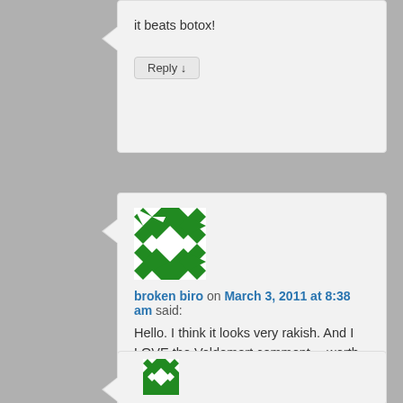it beats botox!
Reply ↓
[Figure (illustration): Green and white geometric avatar icon for broken biro]
broken biro on March 3, 2011 at 8:38 am said:
Hello. I think it looks very rakish. And I LOVE the Voldemort comment… worth having 'half your face'* ripped off for, non?* It's ok – I have a poetic licence
Reply ↓
[Figure (illustration): Green and white geometric avatar icon (partial, bottom of page)]